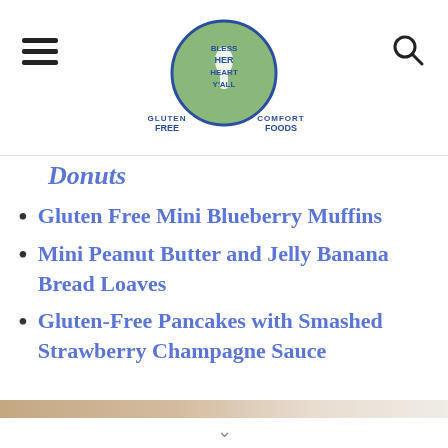Gluten Free Comfort Foods - Bless Her Heart Y'All
Donuts
Gluten Free Mini Blueberry Muffins
Mini Peanut Butter and Jelly Banana Bread Loaves
Gluten-Free Pancakes with Smashed Strawberry Champagne Sauce
[Figure (photo): Partial bottom image strip of food photo]